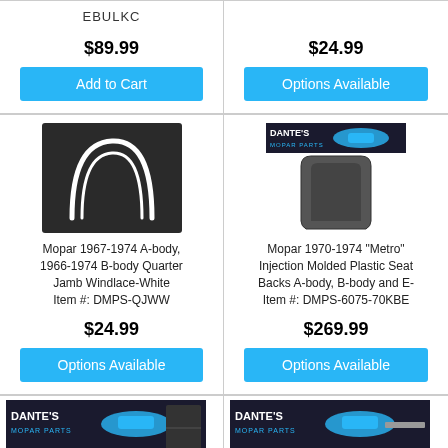EBULKC
$89.99
Add to Cart
$24.99
Options Available
[Figure (photo): Mopar quarter jamb windlace white, curved white strip on dark background]
Mopar 1967-1974 A-body, 1966-1974 B-body Quarter Jamb Windlace-White
Item #: DMPS-QJWW
$24.99
Options Available
[Figure (photo): Dante's Mopar Parts logo and plastic seat back panel, dark gray/black]
Mopar 1970-1974 "Metro" Injection Molded Plastic Seat Backs A-body, B-body and E-
Item #: DMPS-6075-70KBE
$269.99
Options Available
[Figure (photo): Dante's Mopar Parts logo with partial product image, bottom row left]
[Figure (photo): Dante's Mopar Parts logo with partial product image, bottom row right]